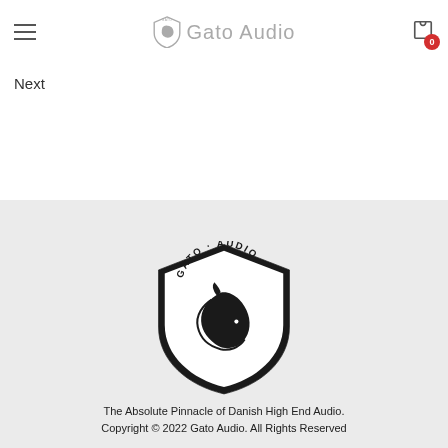Gato Audio
Next
[Figure (logo): Gato Audio shield logo with lion head, black on light grey background, with text GATO AUDIO around the top of the shield]
The Absolute Pinnacle of Danish High End Audio.
Copyright © 2022 Gato Audio. All Rights Reserved